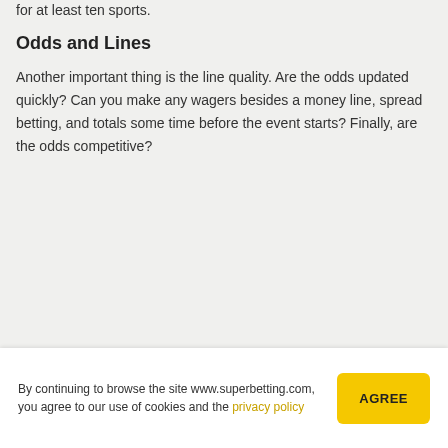for at least ten sports.
Odds and Lines
Another important thing is the line quality. Are the odds updated quickly? Can you make any wagers besides a money line, spread betting, and totals some time before the event starts? Finally, are the odds competitive?
By continuing to browse the site www.superbetting.com, you agree to our use of cookies and the privacy policy